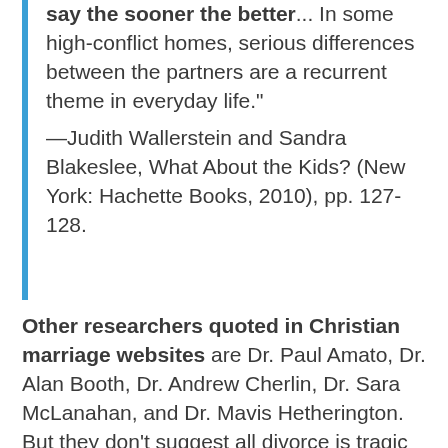say the sooner the better... In some high-conflict homes, serious differences between the partners are a recurrent theme in everyday life." —Judith Wallerstein and Sandra Blakeslee, What About the Kids? (New York: Hachette Books, 2010), pp. 127-128.
Other researchers quoted in Christian marriage websites are Dr. Paul Amato, Dr. Alan Booth, Dr. Andrew Cherlin, Dr. Sara McLanahan, and Dr. Mavis Hetherington. But they don't suggest all divorce is tragic for kids either. Here are their conclusions...